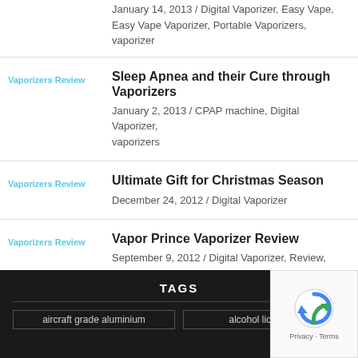January 14, 2013 / Digital Vaporizer, Easy Vape, Easy Vape Vaporizer, Portable Vaporizers, vaporizer
Sleep Apnea and their Cure through Vaporizers
Vaporizers Review
January 2, 2013 / CPAP machine, Digital Vaporizer, vaporizers
Ultimate Gift for Christmas Season
Vaporizers Review
December 24, 2012 / Digital Vaporizer
Vapor Prince Vaporizer Review
Vaporizers Review
September 9, 2012 / Digital Vaporizer, Review, Vaporizers
TAGS
aircraft grade aluminium
alcohol licensing